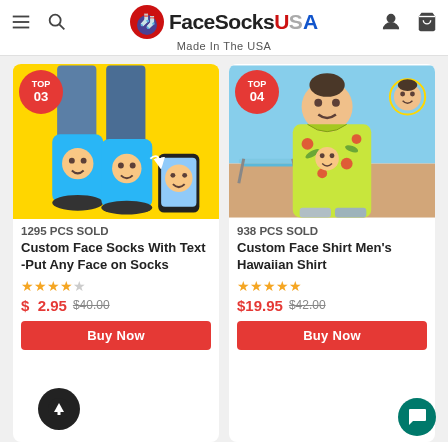FaceSocks USA — Made In The USA
[Figure (screenshot): Product card for Custom Face Socks With Text - Put Any Face on Socks, showing legs wearing blue face socks on yellow background, TOP 03 badge, 1295 PCS SOLD, 5-star rating, price $12.95 (was $40.00), Buy Now button]
1295 PCS SOLD
Custom Face Socks With Text -Put Any Face on Socks
★★★★★
$12.95 $40.00
[Figure (screenshot): Product card for Custom Face Shirt Men's Hawaiian Shirt, showing man wearing yellow Hawaiian shirt with his face printed on it, beach background, TOP 04 badge, 938 PCS SOLD, 5-star rating, price $19.95 (was $42.00), Buy Now button]
938 PCS SOLD
Custom Face Shirt Men's Hawaiian Shirt
★★★★★
$19.95 $42.00